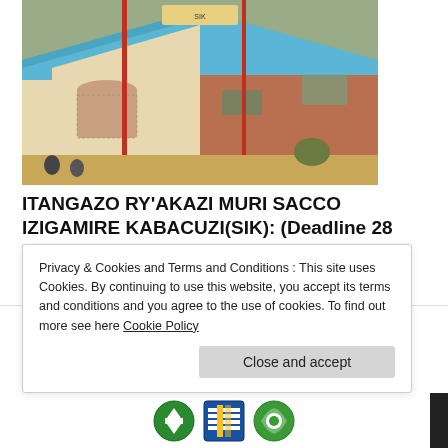[Figure (photo): Aerial/elevated view of a building with blue corrugated metal roof, cream and brick-red walls, under construction or recently completed, set in a dusty landscape.]
ITANGAZO RY'AKAZI MURI SACCO IZIGAMIRE KABACUZI(SIK): (Deadline 28 August 2022)
August 18, 2022   (0) Comments
[Figure (logo): Partial logo with arc text reading 'CHNOLOGY AND' visible at top, and colorful circular logos at bottom (green, blue, white).]
Privacy & Cookies and Terms and Conditions : This site uses Cookies. By continuing to use this website, you accept its terms and conditions and you agree to the use of cookies. To find out more see here Cookie Policy
Close and accept